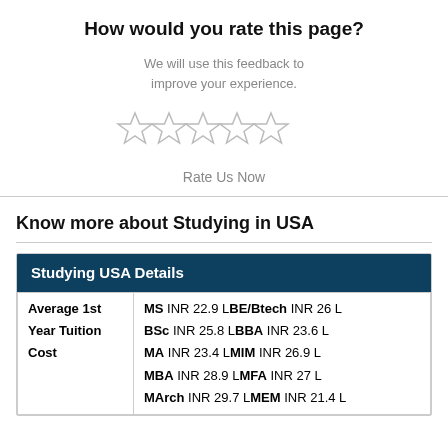How would you rate this page?
We will use this feedback to improve your experience.
[Figure (other): Five empty star rating icons in a row]
Rate Us Now
Know more about Studying in USA
| Studying USA Details |  |
| --- | --- |
| Average 1st Year Tuition Cost | MS INR 22.9 L BE/Btech INR 26 L
BSc INR 25.8 L BBA INR 23.6 L
MA INR 23.4 L MIM INR 26.9 L
MBA INR 28.9 L MFA INR 27 L
MArch INR 29.7 L MEM INR 21.4 L |